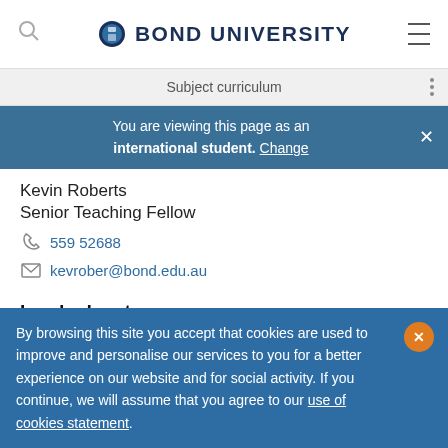BOND UNIVERSITY
Subject curriculum
You are viewing this page as an international student. Change
Kevin Roberts
Senior Teaching Fellow
559 52688
kevrober@bond.edu.au
Lead educator
Kevin Rober...
By browsing this site you accept that cookies are used to improve and personalise our services to you for a better experience on our website and for social activity. If you continue, we will assume that you agree to our use of cookies statement.